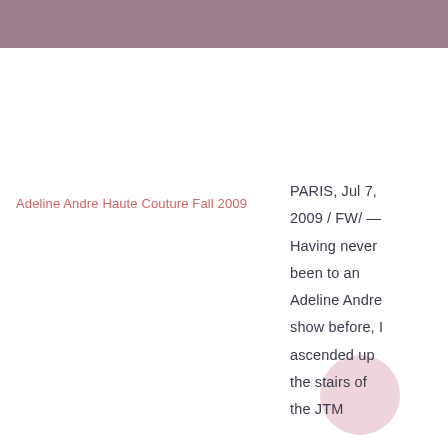[Figure (photo): Adeline Andre Haute Couture Fall 2009 — broken image placeholder with alt text in pink/red]
PARIS, Jul 7, 2009 / FW/ — Having never been to an Adeline Andre show before, I ascended up the stairs of the JTM